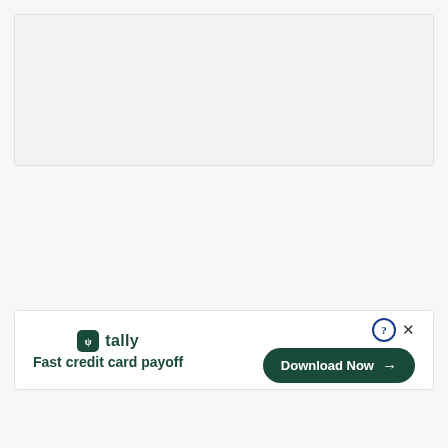[Figure (other): Top gray banner placeholder area]
[Figure (infographic): Tally advertisement banner: logo with green icon and 'tally' text, tagline 'Fast credit card payoff', a 'Download Now' button with arrow, and close/help icons]